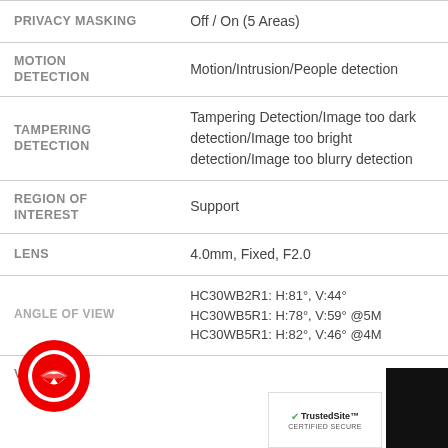| Feature | Details |
| --- | --- |
| PRIVACY MASKING | Off / On (5 Areas) |
| MOTION DETECTION | Motion/Intrusion/People detection |
| TAMPERING DETECTION | Tampering Detection/Image too dark detection/Image too bright detection/Image too blurry detection |
| REGION OF INTEREST | Support |
| LENS | 4.0mm, Fixed, F2.0 |
| ANGLE OF VIEW | HC30WB2R1: H:81°, V:44°
HC30WB5R1: H:78°, V:59° @5M
HC30WB5R1: H:82°, V:46° @4M |
| VIDEO |  |